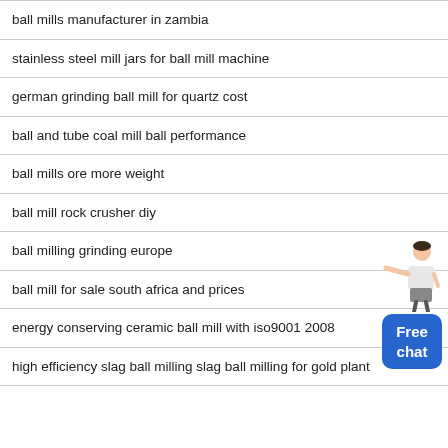ball mills manufacturer in zambia
stainless steel mill jars for ball mill machine
german grinding ball mill for quartz cost
ball and tube coal mill ball performance
ball mills ore more weight
ball mill rock crusher diy
ball milling grinding europe
ball mill for sale south africa and prices
energy conserving ceramic ball mill with iso9001 2008
high efficiency slag ball milling slag ball milling for gold plant
[Figure (illustration): A woman in business attire pointing, with a blue 'Free chat' button below her]